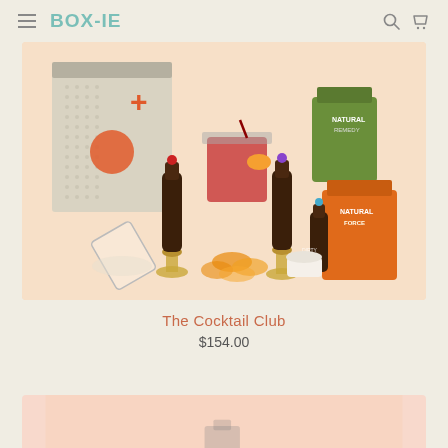BOX-IE (navigation bar with hamburger menu, logo, search and cart icons)
[Figure (photo): Product flatlay photo of 'The Cocktail Club' gift box on a peach/beige background, showing a patterned cardboard box with orange circle and plus design, two dark amber cocktail syrup bottles in gold stands, a red cocktail in a rocks glass with orange garnish, dried orange slices, a tipped glass with ice, a green bag, and an orange bag.]
The Cocktail Club
$154.00
[Figure (photo): Partial photo of another product (cut off at bottom of page), with peach/light pink background.]